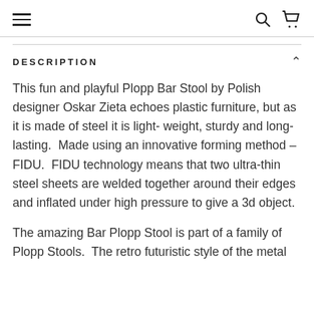Navigation bar with hamburger menu, search, and cart icons
DESCRIPTION
This fun and playful Plopp Bar Stool by Polish designer Oskar Zieta echoes plastic furniture, but as it is made of steel it is light- weight, sturdy and long-lasting.  Made using an innovative forming method – FIDU.  FIDU technology means that two ultra-thin steel sheets are welded together around their edges and inflated under high pressure to give a 3d object.
The amazing Bar Plopp Stool is part of a family of Plopp Stools.  The retro futuristic style of the metal